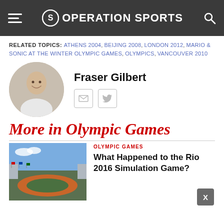OPERATION SPORTS
RELATED TOPICS: ATHENS 2004, BEIJING 2008, LONDON 2012, MARIO & SONIC AT THE WINTER OLYMPIC GAMES, OLYMPICS, VANCOUVER 2010
Fraser Gilbert
[Figure (photo): Circular avatar photo of Fraser Gilbert, a young man smiling]
[Figure (infographic): Email and Twitter social media icons]
More in Olympic Games
[Figure (photo): Aerial view of an Olympic stadium with running track and field]
OLYMPIC GAMES
What Happened to the Rio 2016 Simulation Game?